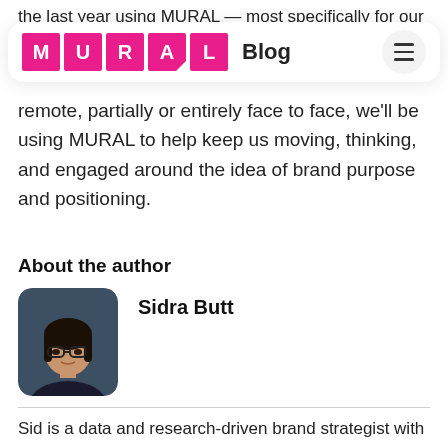the last year using MURAL — most specifically for our
[Figure (logo): MURAL Blog navigation bar with pink letter tiles spelling MURAL, the word Blog, and a hamburger menu icon]
remote, partially or entirely face to face, we'll be using MURAL to help keep us moving, thinking, and engaged around the idea of brand purpose and positioning.
About the author
[Figure (photo): Portrait photo of Sidra Butt, a woman with glasses and dark hair wearing a dark outfit, photo has rounded corners]
Sidra Butt
Sid is a data and research-driven brand strategist with 8 years of experience across Asia and America. Her superpowers are empathy, collaboration, and leadership.